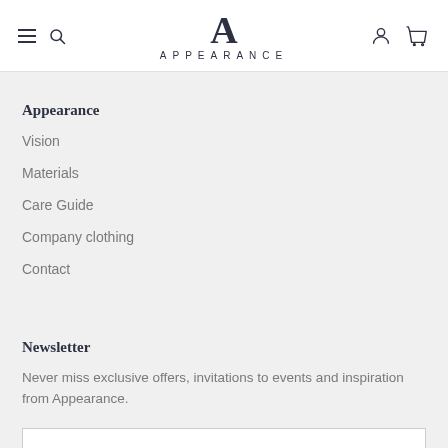APPEARANCE
Appearance
Vision
Materials
Care Guide
Company clothing
Contact
Newsletter
Never miss exclusive offers, invitations to events and inspiration from Appearance.